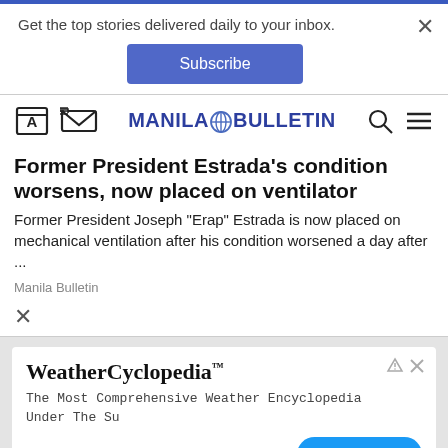Get the top stories delivered daily to your inbox.
Subscribe
MANILA BULLETIN
Former President Estrada's condition worsens, now placed on ventilator
Former President Joseph "Erap" Estrada is now placed on mechanical ventilation after his condition worsened a day after ...
Manila Bulletin
WeatherCyclopedia™
The Most Comprehensive Weather Encyclopedia Under The Su
Telemet Inc.
Open